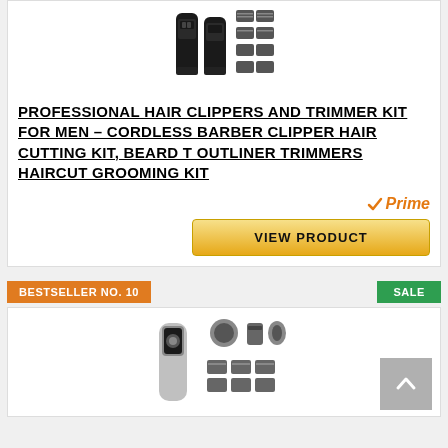[Figure (photo): Hair clippers and trimmer kit product image showing two black cordless clippers with multiple guide combs/attachments]
PROFESSIONAL HAIR CLIPPERS AND TRIMMER KIT FOR MEN – CORDLESS BARBER CLIPPER HAIR CUTTING KIT, BEARD T OUTLINER TRIMMERS HAIRCUT GROOMING KIT
[Figure (logo): Amazon Prime logo with orange checkmark and italic Prime text]
VIEW PRODUCT
BESTSELLER NO. 10
SALE
[Figure (photo): Philips multi-grooming kit product image showing shaver with multiple attachments and combs]